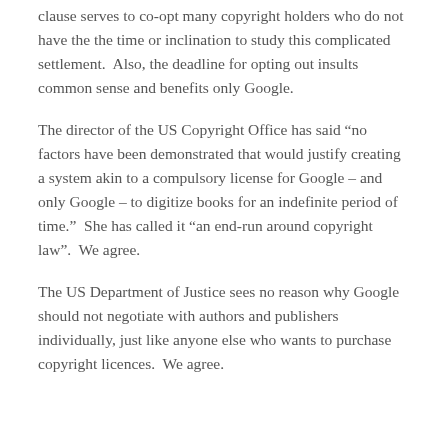clause serves to co-opt many copyright holders who do not have the the time or inclination to study this complicated settlement.  Also, the deadline for opting out insults common sense and benefits only Google.
The director of the US Copyright Office has said “no factors have been demonstrated that would justify creating a system akin to a compulsory license for Google – and only Google – to digitize books for an indefinite period of time.”  She has called it “an end-run around copyright law”.  We agree.
The US Department of Justice sees no reason why Google should not negotiate with authors and publishers individually, just like anyone else who wants to purchase copyright licences.  We agree.